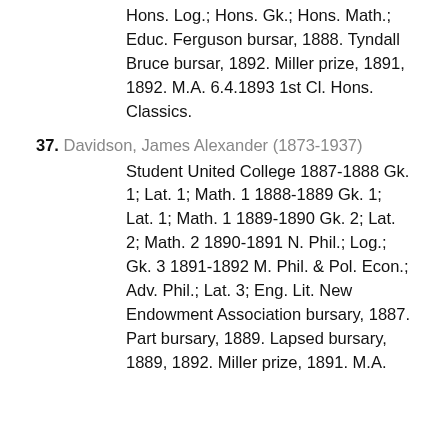Hons. Log.; Hons. Gk.; Hons. Math.; Educ. Ferguson bursar, 1888. Tyndall Bruce bursar, 1892. Miller prize, 1891, 1892. M.A. 6.4.1893 1st Cl. Hons. Classics.
37. Davidson, James Alexander (1873-1937)
Student United College 1887-1888 Gk. 1; Lat. 1; Math. 1 1888-1889 Gk. 1; Lat. 1; Math. 1 1889-1890 Gk. 2; Lat. 2; Math. 2 1890-1891 N. Phil.; Log.; Gk. 3 1891-1892 M. Phil. & Pol. Econ.; Adv. Phil.; Lat. 3; Eng. Lit. New Endowment Association bursary, 1887. Part bursary, 1889. Lapsed bursary, 1889, 1892. Miller prize, 1891. M.A.